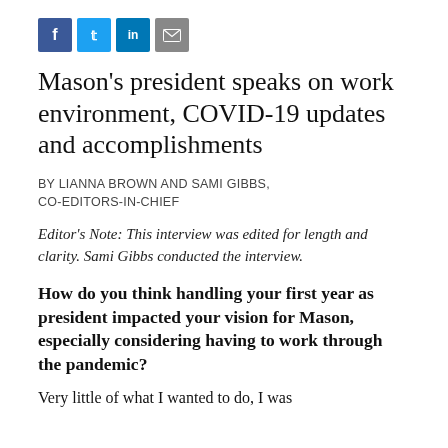[Figure (other): Row of four social media sharing icon buttons: Facebook (dark blue, f), Twitter (light blue, bird/t), LinkedIn (blue, in), Email (grey, envelope)]
Mason's president speaks on work environment, COVID-19 updates and accomplishments
BY LIANNA BROWN AND SAMI GIBBS, CO-EDITORS-IN-CHIEF
Editor's Note: This interview was edited for length and clarity. Sami Gibbs conducted the interview.
How do you think handling your first year as president impacted your vision for Mason, especially considering having to work through the pandemic?
Very little of what I wanted to do, I was